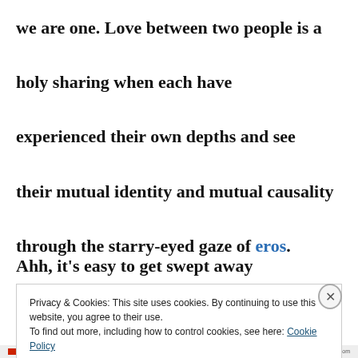we are one. Love between two people is a holy sharing when each have experienced their own depths and see their mutual identity and mutual causality through the starry-eyed gaze of eros.
Ahh, it's easy to get swept away
Privacy & Cookies: This site uses cookies. By continuing to use this website, you agree to their use. To find out more, including how to control cookies, see here: Cookie Policy